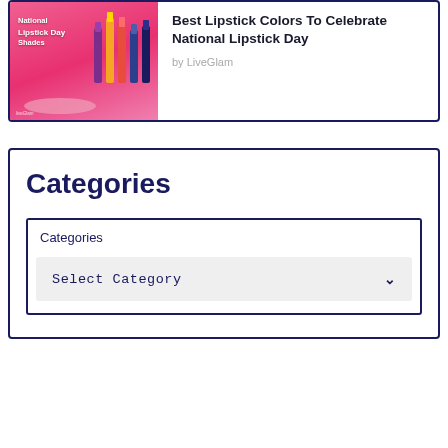[Figure (photo): Pink promotional image for National Lipstick Day Shades with lipstick products displayed]
Best Lipstick Colors To Celebrate National Lipstick Day
by LiveGlam
Categories
Categories
Select Category